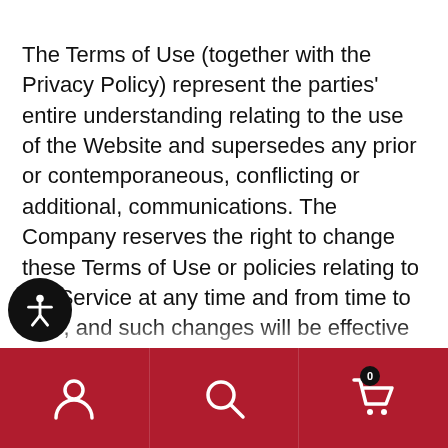The Terms of Use (together with the Privacy Policy) represent the parties' entire understanding relating to the use of the Website and supersedes any prior or contemporaneous, conflicting or additional, communications. The Company reserves the right to change these Terms of Use or policies relating to the Service at any time and from time to time, and such changes will be effective upon being posted herein. You should visit this page from time to time to review then current Terms of Use because they are binding on you.  Certain provisions of these Terms of Use may be superseded by expressly designated legal notices or terms located on particular pages of the Website which are incorporated from time to time. Y...